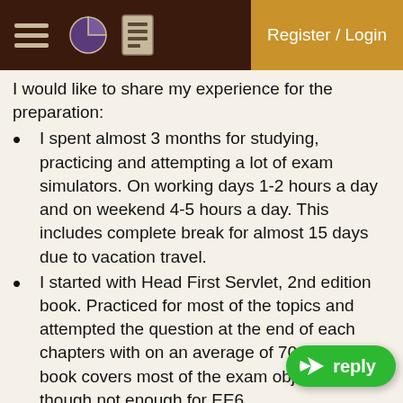Register / Login
I would like to share my experience for the preparation:
I spent almost 3 months for studying, practicing and attempting a lot of exam simulators. On working days 1-2 hours a day and on weekend 4-5 hours a day. This includes complete break for almost 15 days due to vacation travel.
I started with Head First Servlet, 2nd edition book. Practiced for most of the topics and attempted the question at the end of each chapters with on an average of 70-80%. This book covers most of the exam objectives, though not enough for EE6.
Read the Servlet/JSP/EL/JSTL specs to cover the new topics, specially Annotation & Pluggability, Asynchronous, Security ect. I read these new topics 2-3 times to get comfortable.
Examulator: Lot of questions from SC…
Niko's Free SCWCD Mock Exam was… to test on basic concepts.